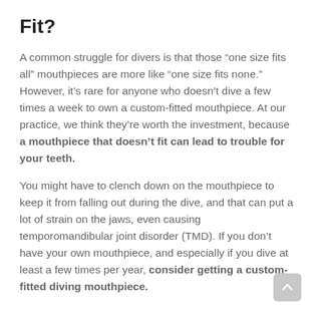Fit?
A common struggle for divers is that those “one size fits all” mouthpieces are more like “one size fits none.” However, it’s rare for anyone who doesn’t dive a few times a week to own a custom-fitted mouthpiece. At our practice, we think they’re worth the investment, because a mouthpiece that doesn’t fit can lead to trouble for your teeth.
You might have to clench down on the mouthpiece to keep it from falling out during the dive, and that can put a lot of strain on the jaws, even causing temporomandibular joint disorder (TMD). If you don’t have your own mouthpiece, and especially if you dive at least a few times per year, consider getting a custom-fitted diving mouthpiece.